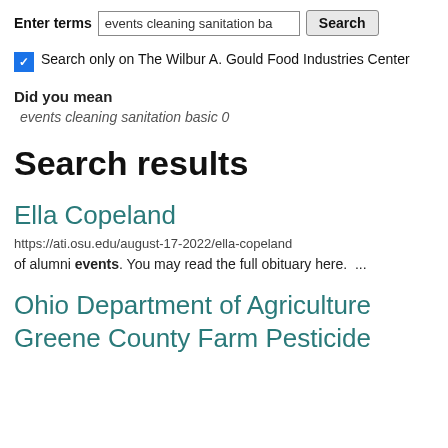Enter terms   events cleaning sanitation ba   Search
Search only on The Wilbur A. Gould Food Industries Center
Did you mean
events cleaning sanitation basic 0
Search results
Ella Copeland
https://ati.osu.edu/august-17-2022/ella-copeland
of alumni events. You may read the full obituary here. ...
Ohio Department of Agriculture
Greene County Farm Pesticide